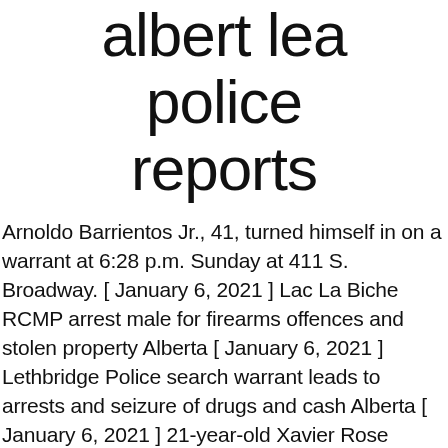albert lea police reports
Arnoldo Barrientos Jr., 41, turned himself in on a warrant at 6:28 p.m. Sunday at 411 S. Broadway. [ January 6, 2021 ] Lac La Biche RCMP arrest male for firearms offences and stolen property Alberta [ January 6, 2021 ] Lethbridge Police search warrant leads to arrests and seizure of drugs and cash Alberta [ January 6, 2021 ] 21-year-old Xavier Rose Reported Missing in Red Deer, Alberta Alberta [ January 6, 2021 ] ALERT: Calgary Men Accused of Child Sex Offences Alberta Palmer and Cantu fired their service weapons while Taylor deployed a Taser and a chemical irritant. A house was reported broken into at 5:16 p.m. Friday at 68846 327th St., Hartland. Nothing was missing. 8K likes. City of Albert Lea Police Information Obtain police reports. 411 South Broadway, Albert Lea, MN 56007-507...